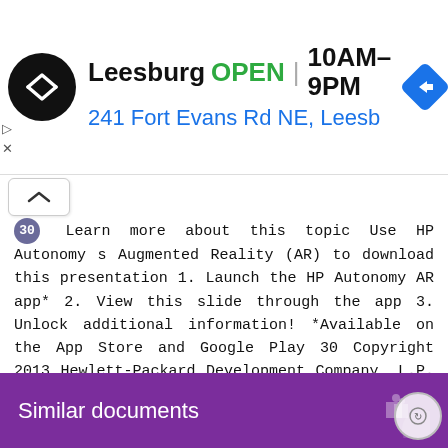[Figure (screenshot): Ad banner showing Leesburg store: logo, OPEN status, hours 10AM-9PM, address 241 Fort Evans Rd NE, Leesb, navigation arrow icon]
Learn more about this topic Use HP Autonomy s Augmented Reality (AR) to download this presentation 1. Launch the HP Autonomy AR app* 2. View this slide through the app 3. Unlock additional information! *Available on the App Store and Google Play 30 Copyright 2013 Hewlett-Packard Development Company, L.P. The information contained herein is subject to change without notice.
31
Similar documents